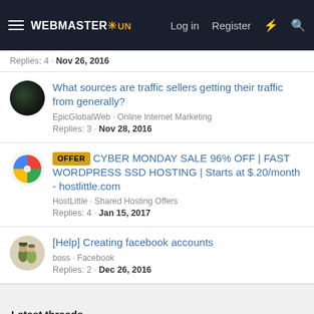WEBMASTER SUN — Log in  Register
Replies: 4 · Nov 26, 2016
What sources are traffic sellers getting their traffic from generally?
EpicGlobalWeb · Online Internet Marketing
Replies: 3 · Nov 28, 2016
OFFER CYBER MONDAY SALE 96% OFF | FAST WORDPRESS SSD HOSTING | Starts at $.20/month - hostlittle.com
HostLittle · Shared Hosting Offers
Replies: 4 · Jan 15, 2017
[Help] Creating facebook accounts
boss · Facebook
Replies: 2 · Dec 26, 2016
Latest threads